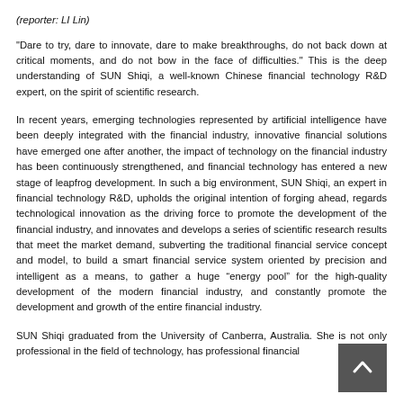(reporter: LI Lin)
"Dare to try, dare to innovate, dare to make breakthroughs, do not back down at critical moments, and do not bow in the face of difficulties." This is the deep understanding of SUN Shiqi, a well-known Chinese financial technology R&D expert, on the spirit of scientific research.
In recent years, emerging technologies represented by artificial intelligence have been deeply integrated with the financial industry, innovative financial solutions have emerged one after another, the impact of technology on the financial industry has been continuously strengthened, and financial technology has entered a new stage of leapfrog development. In such a big environment, SUN Shiqi, an expert in financial technology R&D, upholds the original intention of forging ahead, regards technological innovation as the driving force to promote the development of the financial industry, and innovates and develops a series of scientific research results that meet the market demand, subverting the traditional financial service concept and model, to build a smart financial service system oriented by precision and intelligent as a means, to gather a huge “energy pool” for the high-quality development of the modern financial industry, and constantly promote the development and growth of the entire financial industry.
SUN Shiqi graduated from the University of Canberra, Australia. She is not only professional in the field of technology, has professional financial